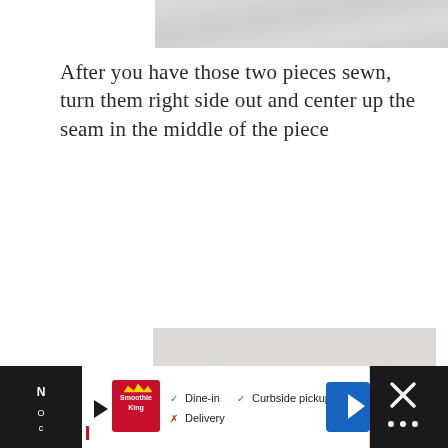[Figure (photo): Partial view of a marble surface at the top of the page]
After you have those two pieces sewn, turn them right side out and center up the seam in the middle of the piece
[Figure (photo): Two hands holding a folded piece of colorful floral fabric, showing a sewn seam centered in the middle of the piece, on a marble background]
[Figure (other): Advertisement bar at the bottom showing Smoothie King ad with options: Dine-in (check), Curbside pickup (check), Delivery (cross), with play button, navigation arrow icon, and other UI elements on dark background]